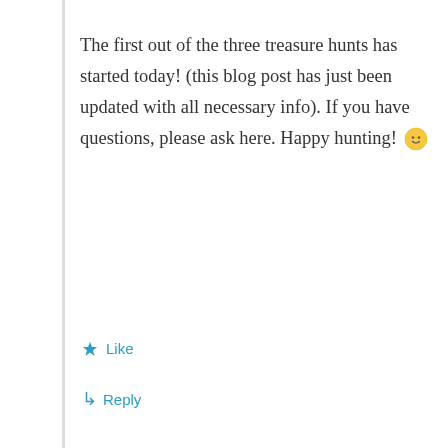The first out of the three treasure hunts has started today! (this blog post has just been updated with all necessary info). If you have questions, please ask here. Happy hunting! 🙂
★ Like
↳ Reply
Nelly the penguin
November 18, 2010 at 3:41 pm
how do you prove you found something – think i may have freddy mercury?